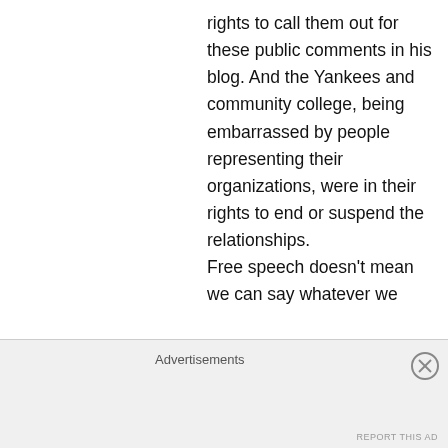rights to call them out for these public comments in his blog. And the Yankees and community college, being embarrassed by people representing their organizations, were in their rights to end or suspend the relationships.
Free speech doesn't mean we can say whatever we
Advertisements